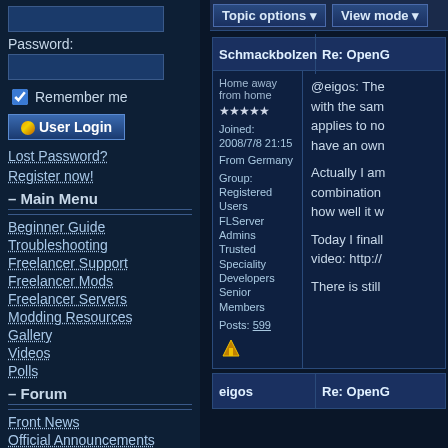Password:
Remember me
User Login
Lost Password?
Register now!
– Main Menu
Beginner Guide
Troubleshooting
Freelancer Support
Freelancer Mods
Freelancer Servers
Modding Resources
Gallery
Videos
Polls
– Forum
Front News
Official Announcements
General Discussion
Freelancer Support
Topic options ▾   View mode ▾
| Schmackbolzen | Re: OpenG... |
| --- | --- |
| Home away from home | @eigos: The... with the sam... applies to no... have an own... |
| Joined: 2008/7/8 21:15 | Actually I am... combination... how well it w... |
| From Germany | Today I finall... video: http://... |
| Group: Registered Users FLServer Admins Trusted Speciality Developers Senior Members | There is still... |
| Posts: 599 |  |
eigos   Re: OpenG...